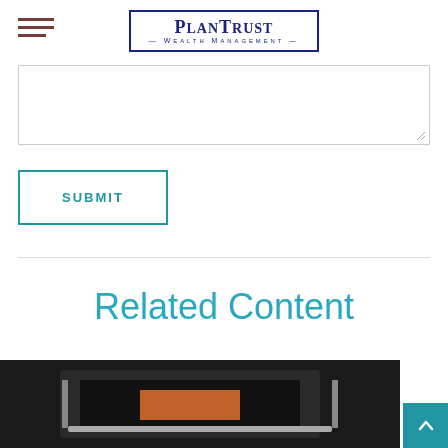PlanTrust Wealth Management
[Figure (screenshot): Empty textarea form input field with resize handle in bottom right corner]
SUBMIT
Related Content
[Figure (photo): Dark background photo with orange and silver elements, partial view of a monitor or electronic device]